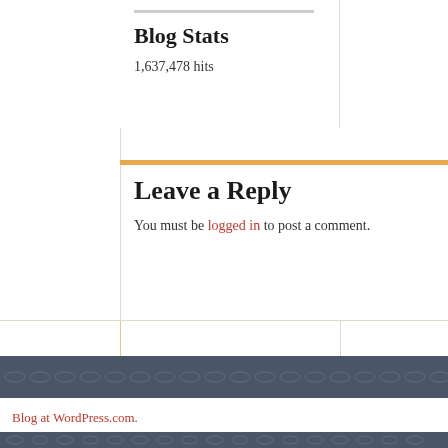Pingback: OSN Top Stories of 2019! Stab and Lions, Oh My! | Orange Street News
Leave a Reply
You must be logged in to post a comment.
Blog Stats
1,637,478 hits
Blog at WordPress.com.